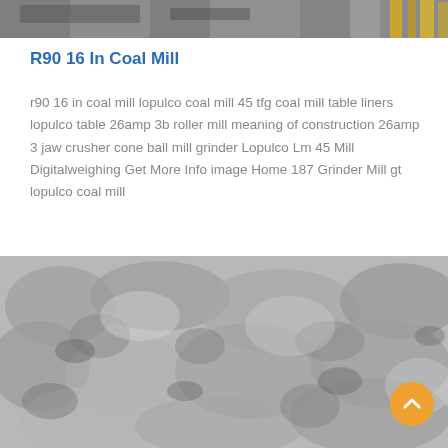[Figure (photo): Top partial photo of industrial coal mill equipment with yellow structural frame visible on the right side]
R90 16 In Coal Mill
r90 16 in coal mill lopulco coal mill 45 tfg coal mill table liners lopulco table 26amp 3b roller mill meaning of construction 26amp 3 jaw crusher cone ball mill grinder Lopulco Lm 45 Mill Digitalweighing Get More Info image Home 187 Grinder Mill gt lopulco coal mill
[Figure (photo): Close-up black and white photo of crushed coal or mineral aggregate material showing rough textured surface]